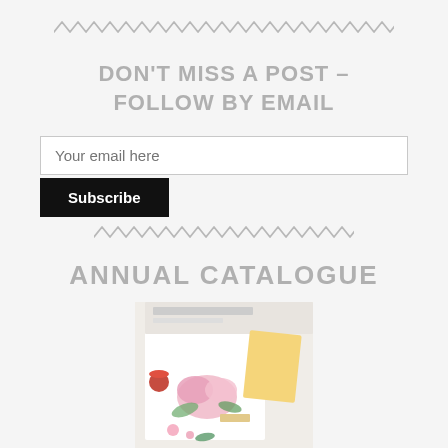[Figure (illustration): Decorative zigzag/wave divider line at top]
DON'T MISS A POST – FOLLOW BY EMAIL
Your email here
Subscribe
[Figure (illustration): Decorative zigzag/wave divider line in middle]
ANNUAL CATALOGUE
[Figure (photo): Annual Catalogue cover showing floral crafting items including pink flowers, cards, and red ink]